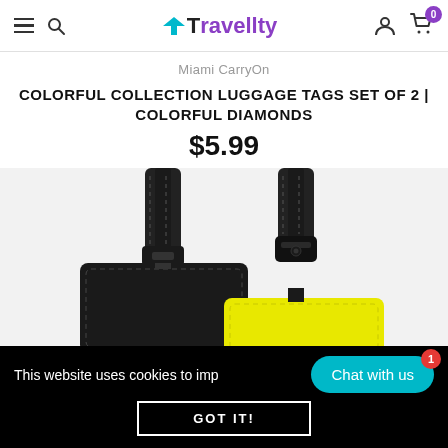Travellty navigation header with hamburger menu, search, logo, user icon, and cart (0)
Miami CarryOn
COLORFUL COLLECTION LUGGAGE TAGS SET OF 2 | COLORFUL DIAMONDS
$5.99
[Figure (photo): Two luggage tags on white background — left tag is black/dark, right tag is yellow — both showing straps at top]
This website uses cookies to imp
Chat with us
GOT IT!